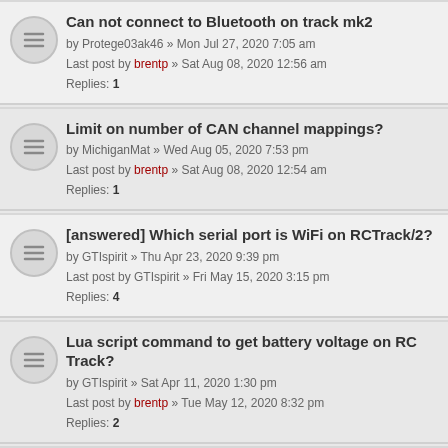Can not connect to Bluetooth on track mk2 by Protege03ak46 » Mon Jul 27, 2020 7:05 am Last post by brentp » Sat Aug 08, 2020 12:56 am Replies: 1
Limit on number of CAN channel mappings? by MichiganMat » Wed Aug 05, 2020 7:53 pm Last post by brentp » Sat Aug 08, 2020 12:54 am Replies: 1
[answered] Which serial port is WiFi on RCTrack/2? by GTIspirit » Thu Apr 23, 2020 9:39 pm Last post by GTIspirit » Fri May 15, 2020 3:15 pm Replies: 4
Lua script command to get battery voltage on RC Track? by GTIspirit » Sat Apr 11, 2020 1:30 pm Last post by brentp » Tue May 12, 2020 8:32 pm Replies: 2
RPM input? by mikesmith » Fri Apr 24, 2020 9:42 pm Last post by brentp » Tue May 12, 2020 8:28 pm Replies: 1